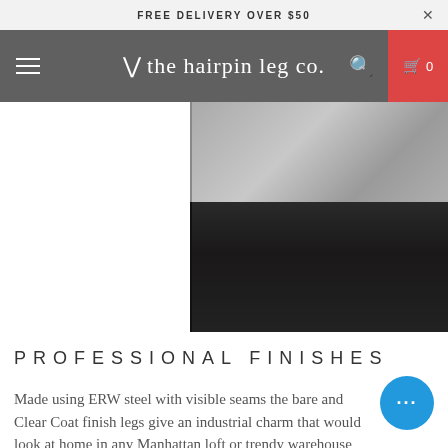FREE DELIVERY OVER $50
V the hairpin leg co.
[Figure (photo): Close-up product photo showing a concrete-topped table surface with a dark matte black steel frame/leg visible below it, against a white background.]
PROFESSIONAL FINISHES
Made using ERW steel with visible seams the bare and Clear Coat finish legs give an industrial charm that would look at home in any Manhattan loft or trendy warehouse